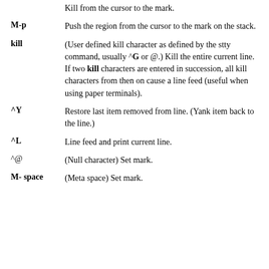Kill from the cursor to the mark.
M-p
Push the region from the cursor to the mark on the stack.
kill
(User defined kill character as defined by the stty command, usually ^G or @.) Kill the entire current line. If two kill characters are entered in succession, all kill characters from then on cause a line feed (useful when using paper terminals).
^Y
Restore last item removed from line. (Yank item back to the line.)
^L
Line feed and print current line.
^@
(Null character) Set mark.
M- space
(Meta space) Set mark.